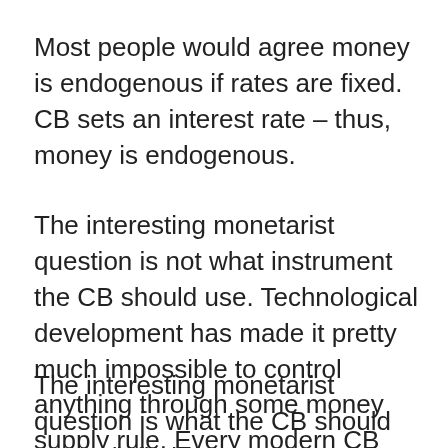Most people would agree money is endogenous if rates are fixed. CB sets an interest rate – thus, money is endogenous.
The interesting monetarist question is not what instrument the CB should use. Technological development has made it pretty much impossible to control anything through some money supply rule. Every modern CB sets the interest rate.
The interesting monetarist question is what the CB should target (inflation, employment, NGDP) and...